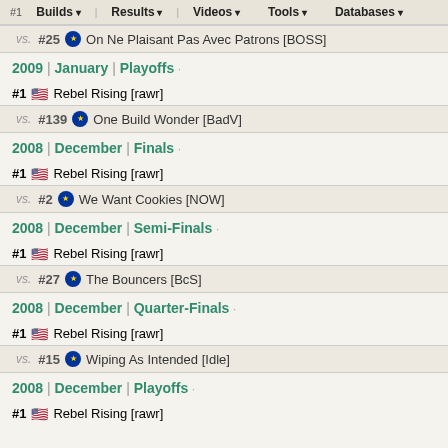# Builds | Results | Videos | Tools | Databases
vs. #25 [EU] On Ne Plaisant Pas Avec Patrons [BOSS]
2009 | January | Playoffs
#1 [US] Rebel Rising [rawr]
vs. #139 [EU] One Build Wonder [BadV]
2008 | December | Finals
#1 [US] Rebel Rising [rawr]
vs. #2 [EU] We Want Cookies [NOW]
2008 | December | Semi-Finals
#1 [US] Rebel Rising [rawr]
vs. #27 [EU] The Bouncers [BcS]
2008 | December | Quarter-Finals
#1 [US] Rebel Rising [rawr]
vs. #15 [EU] Wiping As Intended [Idle]
2008 | December | Playoffs
#1 [US] Rebel Rising [rawr]